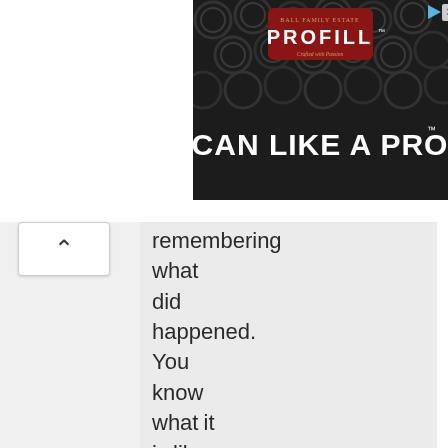[Figure (screenshot): Advertisement banner for PROFILL 'CAN LIKE A PRO' product, showing metal kegs/cans in background with red PROFILL logo badge and bold white text]
remembering what did happened. You know what it is like, that feeling of dread when you come to in the morning and think, "Oh, s***. Where am I and what